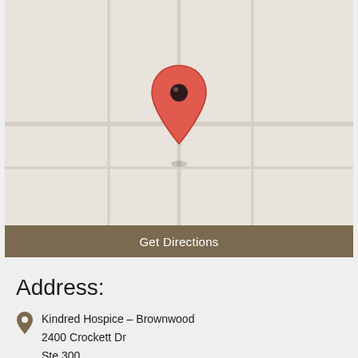[Figure (map): A simple map view with a red location pin marker in the center, surrounded by a plain light beige/gray background representing a street map with no visible roads or labels.]
Get Directions
Address:
Kindred Hospice – Brownwood
2400 Crockett Dr
Ste 300